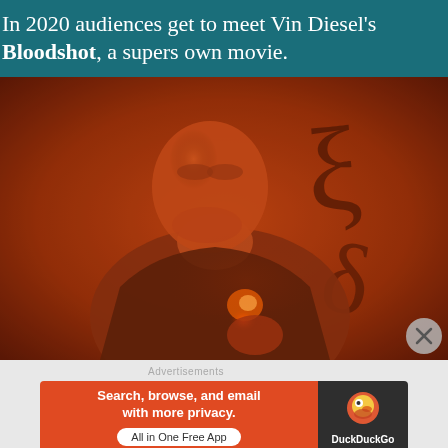In 2020 audiences get to meet Vin Diesel's Bloodshot, a supers own movie.
[Figure (photo): A man (Vin Diesel as Bloodshot) in a dark reddish-orange lit scene, bald, with glowing red light emanating from his chest area, with dark tattoo-like markings visible in the background.]
Advertisements
[Figure (other): DuckDuckGo advertisement banner: 'Search, browse, and email with more privacy. All in One Free App' with DuckDuckGo logo on dark right panel.]